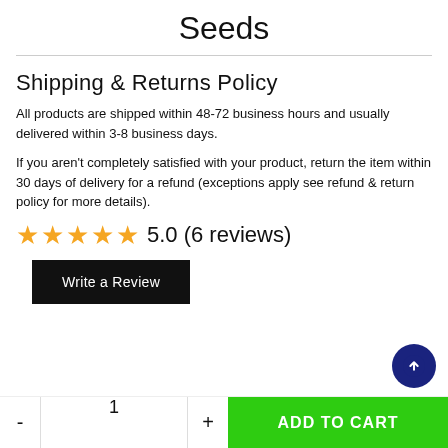Seeds
Shipping & Returns Policy
All products are shipped within 48-72 business hours and usually delivered within 3-8 business days.
If you aren't completely satisfied with your product, return the item within 30 days of delivery for a refund (exceptions apply see refund & return policy for more details).
5.0 (6 reviews)
Write a Review
- 1 + ADD TO CART